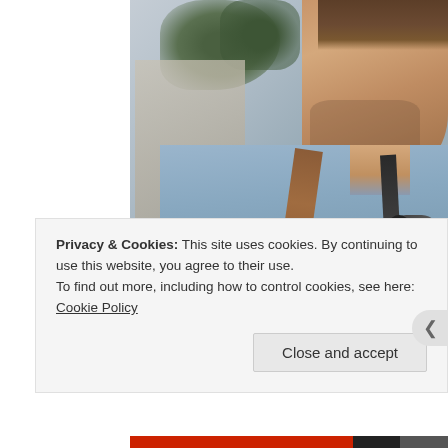[Figure (photo): A smiling young man with a beard wearing a light blue shirt, with a brown leather bag strap and headphones around his neck, photographed outdoors with a blurred background.]
Privacy & Cookies: This site uses cookies. By continuing to use this website, you agree to their use.
To find out more, including how to control cookies, see here: Cookie Policy
Close and accept